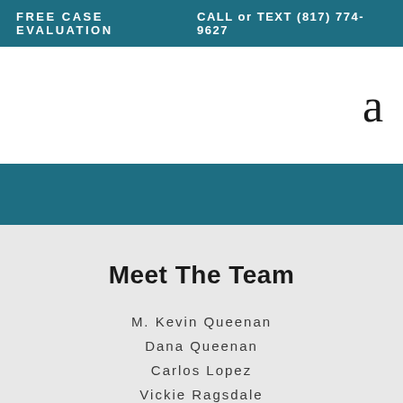FREE CASE EVALUATION    CALL or TEXT (817) 774-9627
[Figure (logo): Logo letter 'a' in serif font on white background]
Meet The Team
M. Kevin Queenan
Dana Queenan
Carlos Lopez
Vickie Ragsdale